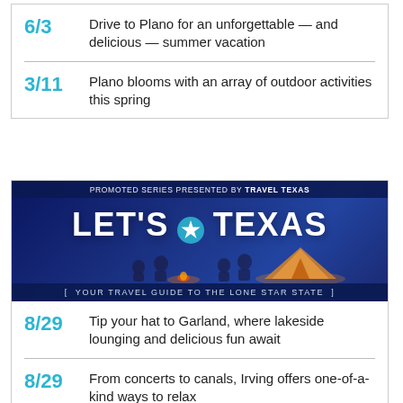6/3 — Drive to Plano for an unforgettable — and delicious — summer vacation
3/11 — Plano blooms with an array of outdoor activities this spring
[Figure (infographic): Promoted series ad: PROMOTED SERIES PRESENTED BY TRAVEL TEXAS. LET'S TEXAS (with Texas star logo). YOUR TRAVEL GUIDE TO THE LONE STAR STATE. Shows people sitting around a campfire near a tent at sunset.]
8/29 — Tip your hat to Garland, where lakeside lounging and delicious fun await
8/29 — From concerts to canals, Irving offers one-of-a-kind ways to relax